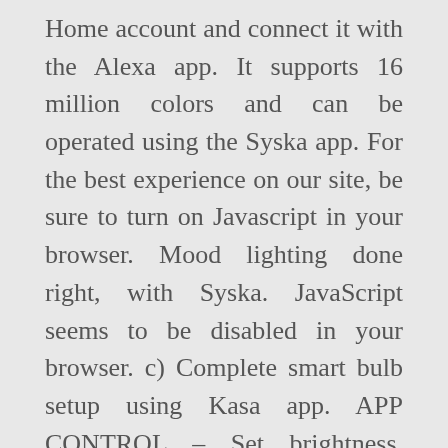Home account and connect it with the Alexa app. It supports 16 million colors and can be operated using the Syska app. For the best experience on our site, be sure to turn on Javascript in your browser. Mood lighting done right, with Syska. JavaScript seems to be disabled in your browser. c) Complete smart bulb setup using Kasa app. APP CONTROL – Set brightness, create timers and change colours easily from your phone using the Syska Smart Home App. What Can I Do If My Bulbs Are Not Connecting or App Keeps Crashing? Advanced technology, energy efficiency and durability put SYSKA LED lights years ahead, giving it a clear edge in today's market. Verify that the gateway is connected to your home router via